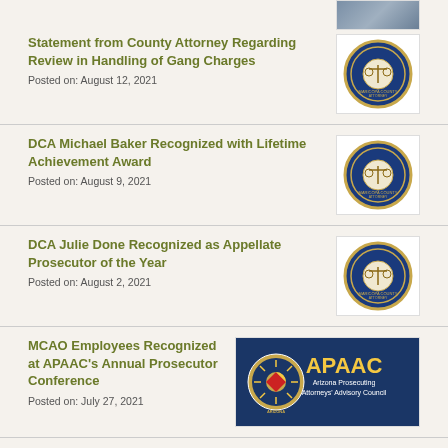[Figure (photo): Partial photo visible at top right corner]
Statement from County Attorney Regarding Review in Handling of Gang Charges
Posted on: August 12, 2021
[Figure (logo): Maricopa County Attorney seal/logo]
DCA Michael Baker Recognized with Lifetime Achievement Award
Posted on: August 9, 2021
[Figure (logo): Maricopa County Attorney seal/logo]
DCA Julie Done Recognized as Appellate Prosecutor of the Year
Posted on: August 2, 2021
[Figure (logo): Maricopa County Attorney seal/logo]
MCAO Employees Recognized at APAAC's Annual Prosecutor Conference
Posted on: July 27, 2021
[Figure (logo): APAAC - Arizona Prosecuting Attorneys Advisory Council banner logo]
Internship Opportunities at MCAO
[Figure (photo): Partial photo at bottom right]